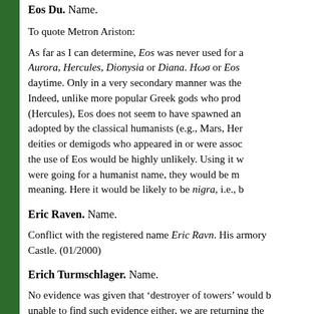Eos Du. Name.
To quote Metron Ariston:
As far as I can determine, Eos was never used for a Aurora, Hercules, Dionysia or Diana. Hωσ or Eos daytime. Only in a very secondary manner was the Indeed, unlike more popular Greek gods who prod (Hercules), Eos does not seem to have spawned an adopted by the classical humanists (e.g., Mars, Her deities or demigods who appeared in or were assoc the use of Eos would be highly unlikely. Using it w were going for a humanist name, they would be m meaning. Here it would be likely to be nigra, i.e., b
Eric Raven. Name.
Conflict with the registered name Eric Ravn. His armory Castle. (01/2000)
Erich Turmschlager. Name.
No evidence was given that ‘destroyer of towers’ would b unable to find such evidence either, we are returning the
His device has been registered under the holding name E